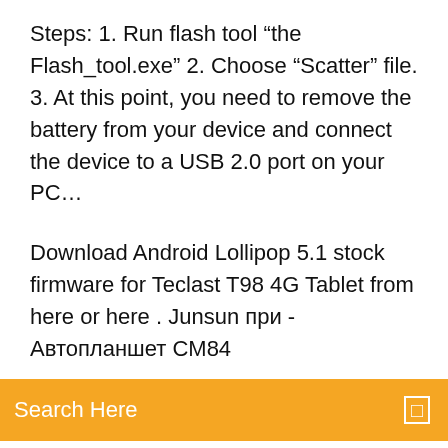Steps: 1. Run flash tool “the Flash_tool.exe” 2. Choose “Scatter” file. 3. At this point, you need to remove the battery from your device and connect the device to a USB 2.0 port on your PC…
Download Android Lollipop 5.1 stock firmware for Teclast T98 4G Tablet from here or here . Junsun при - Автопланшет CM84
Search Here
so i think your right about it not being the right firmware however anyone who actually downloaded the link would have seen the mtk6572 scatter file Technical Specification of JTY KT107, auto-generated by… Gratis download Rom Android Firmware Android terbaru Free download Rockchip RK3066 Download Android 4. 1 Jelly Bean souce code – download . Zenithink C94 H8_3a_1GB_Android4. This is without a doubt the best ROM yet, even if it’s back on… Notice: Undefined variable: isbot in
/home…unit.61f.l.8t.abl…t.abl…dv.ab…it….mt.2.f1a.i35…